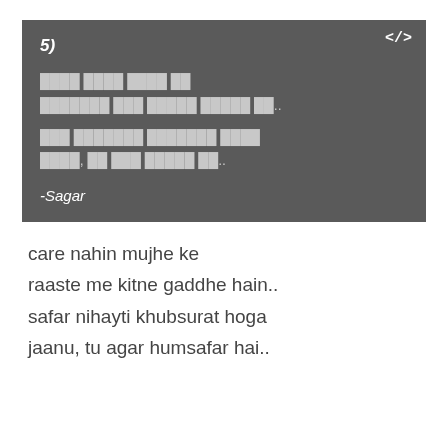5)
care nahin mujhe ke
raaste me kitne gaddhe hain..
safar nihayti khubsurat hoga
jaanu, tu agar humsafar hai..
-Sagar
6)